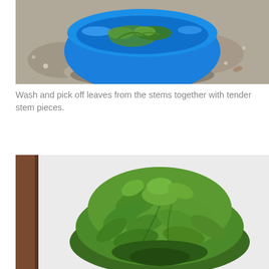[Figure (photo): A blue plastic basin/bowl sitting on sandy/gravelly ground, containing green leafy plant stems and leaves.]
Wash and pick off leaves from the stems together with tender stem pieces.
[Figure (photo): A large bunch of fresh green leafy vegetables held up against a white wall, with a brown door frame visible on the left.]